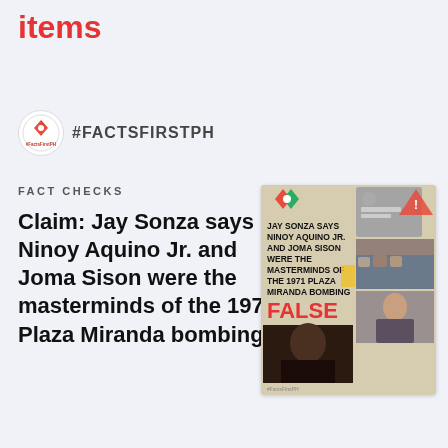items
#FACTSFIRSTPH
FACT CHECKS
Claim: Jay Sonza says Ninoy Aquino Jr. and Joma Sison were the masterminds of the 1971 Plaza Miranda bombing
[Figure (infographic): Fact-check infographic with text 'JAY SONZA SAYS NINOY AQUINO JR. AND JOMA SISON WERE THE MASTERMINDS OF THE 1971 PLAZA MIRANDA BOMBING' and verdict 'FALSE' in red, with collage of photos including Jay Sonza, crowd scenes, and women.]